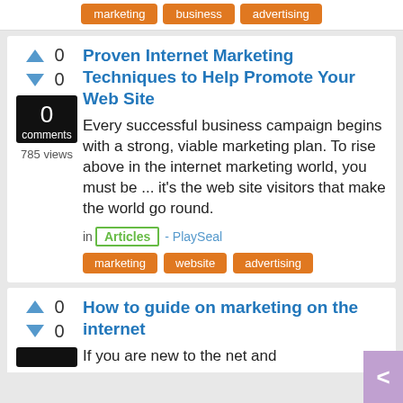marketing | business | advertising
Proven Internet Marketing Techniques to Help Promote Your Web Site
Every successful business campaign begins with a strong, viable marketing plan. To rise above in the internet marketing world, you must be ... it's the web site visitors that make the world go round.
in Articles - PlaySeal
marketing | website | advertising
How to guide on marketing on the internet
If you are new to the net and